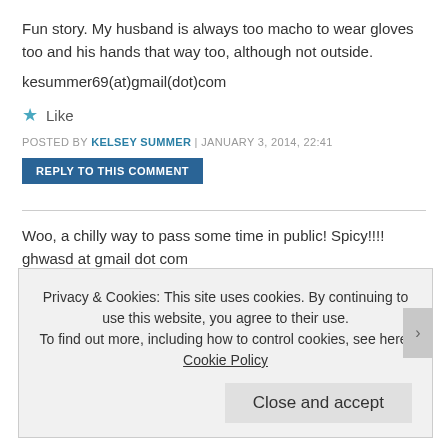Fun story. My husband is always too macho to wear gloves too and his hands that way too, although not outside.
kesummer69(at)gmail(dot)com
Like
POSTED BY KELSEY SUMMER | JANUARY 3, 2014, 22:41
REPLY TO THIS COMMENT
Woo, a chilly way to pass some time in public! Spicy!!!! ghwasd at gmail dot com
Like
POSTED BY GHWASD | JANUARY 3, 2014, 23:17
Privacy & Cookies: This site uses cookies. By continuing to use this website, you agree to their use. To find out more, including how to control cookies, see here: Cookie Policy
Close and accept